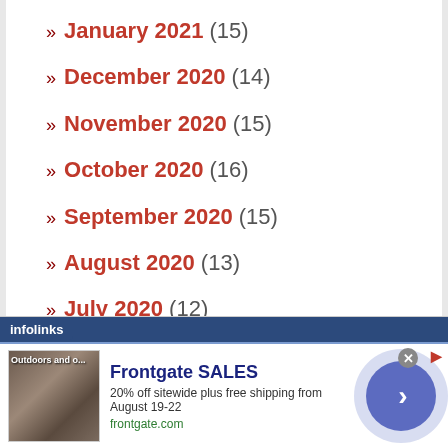» January 2021 (15)
» December 2020 (14)
» November 2020 (15)
» October 2020 (16)
» September 2020 (15)
» August 2020 (13)
» July 2020 (12)
» June 2020 (12)
» May 2020 (13)
» April 2020 (14)
» March 2020 (11)
[Figure (screenshot): infolinks advertisement banner for Frontgate SALES: 20% off sitewide plus free shipping from August 19-22, frontgate.com]